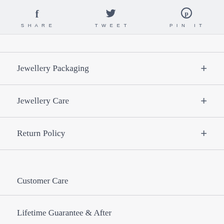[Figure (other): Social sharing bar with Facebook Share, Twitter Tweet, and Pinterest Pin It icons and labels]
Jewellery Packaging
Jewellery Care
Return Policy
Customer Care
Lifetime Guarantee & After